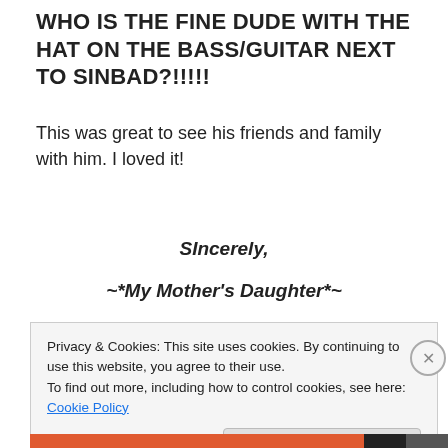WHO IS THE FINE DUDE WITH THE HAT ON THE BASS/GUITAR NEXT TO SINBAD?!!!!!
This was great to see his friends and family with him. I loved it!
Sincerely,
~*My Mother’s Daughter*~
Share this
Privacy & Cookies: This site uses cookies. By continuing to use this website, you agree to their use.
To find out more, including how to control cookies, see here: Cookie Policy